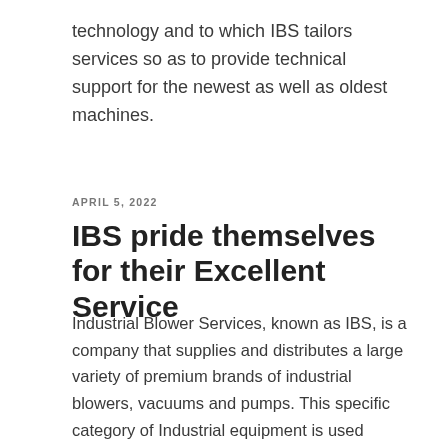technology and to which IBS tailors services so as to provide technical support for the newest as well as oldest machines.
APRIL 5, 2022
IBS pride themselves for their Excellent Service
Industrial Blower Services, known as IBS, is a company that supplies and distributes a large variety of premium brands of industrial blowers, vacuums and pumps. This specific category of Industrial equipment is used extensively across a comprehensive number of diverse industries and are popular because of the specific function they provide. Vacuums, pumps and blowers are required for the positive displacing of air or water, which in turn permits the removal of air or gas molecules from a